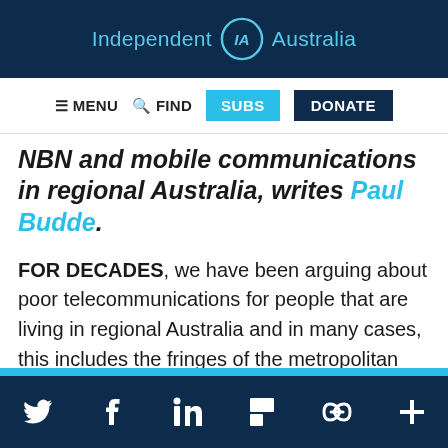Independent IA Australia
MENU  FIND  SUBS  DONATE
NBN and mobile communications in regional Australia, writes Paul Budde.
FOR DECADES, we have been arguing about poor telecommunications for people that are living in regional Australia and in many cases, this includes the fringes of the metropolitan cities as well.
Social share icons: Twitter, Facebook, LinkedIn, Flipboard, share, plus